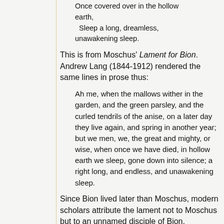Once covered over in the hollow earth,
  Sleep a long, dreamless, unawakening sleep.
This is from Moschus' Lament for Bion. Andrew Lang (1844-1912) rendered the same lines in prose thus:
Ah me, when the mallows wither in the garden, and the green parsley, and the curled tendrils of the anise, on a later day they live again, and spring in another year; but we men, we, the great and mighty, or wise, when once we have died, in hollow earth we sleep, gone down into silence; a right long, and endless, and unawakening sleep.
Since Bion lived later than Moschus, modern scholars attribute the lament not to Moschus but to an unnamed disciple of Bion.
# posted by Michael Gilleland @ 2:42 AM